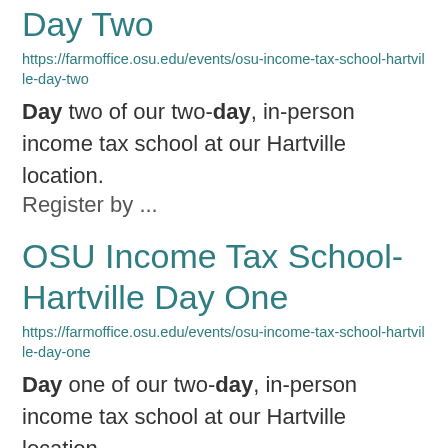Day Two
https://farmoffice.osu.edu/events/osu-income-tax-school-hartville-day-two
Day two of our two-day, in-person income tax school at our Hartville location. Register by ...
OSU Income Tax School- Hartville Day One
https://farmoffice.osu.edu/events/osu-income-tax-school-hartville-day-one
Day one of our two-day, in-person income tax school at our Hartville location. Register by ...
OSU Income Tax School-